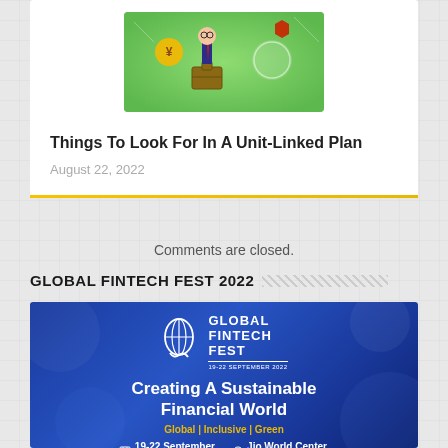[Figure (illustration): Article thumbnail: illustration of a businessman with financial planning icons on a green background]
Things To Look For In A Unit-Linked Plan
August 22, 2022
Comments are closed.
GLOBAL FINTECH FEST 2022
[Figure (infographic): Global Fintech Fest 2022 promotional banner: blue background with globe logo, text 'Creating A Sustainable Financial World', tagline 'Global | Inclusive | Green', dates '19-22 September', venue 'Jio World Center, Mumbai']